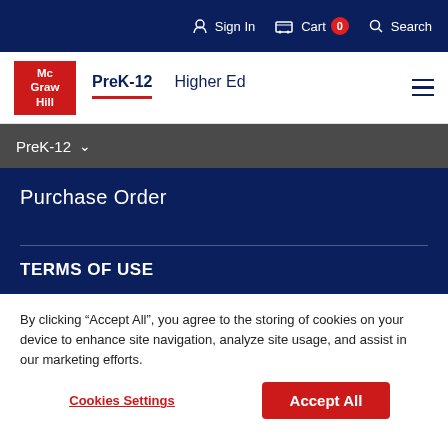Sign In  Cart 0  Search
[Figure (logo): McGraw Hill red logo box with white text]
PreK-12  Higher Ed
PreK-12
Purchase Order
TERMS OF USE
By clicking “Accept All”, you agree to the storing of cookies on your device to enhance site navigation, analyze site usage, and assist in our marketing efforts.
Cookies Settings  Accept All